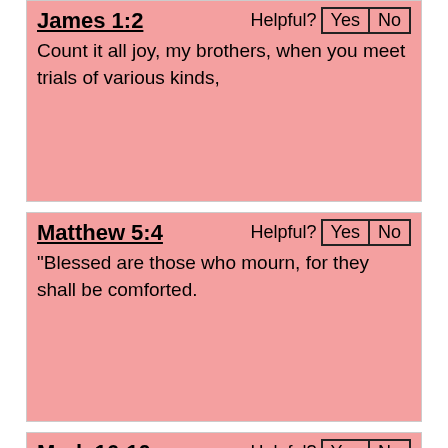James 1:2
Count it all joy, my brothers, when you meet trials of various kinds,
Matthew 5:4
“Blessed are those who mourn, for they shall be comforted.
Mark 16:10